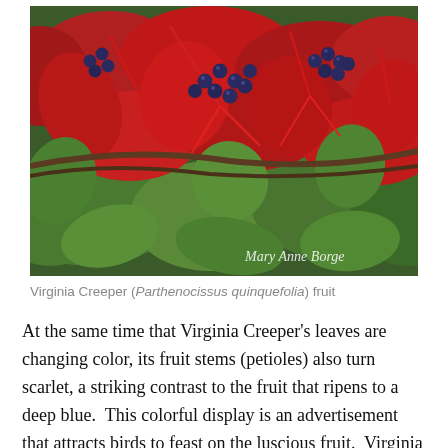[Figure (photo): Close-up photograph of Virginia Creeper plant with deep blue-black berries on bright red stems, surrounded by red and green leaves. Watermark in bottom-right reads 'Mary Anne Borge'.]
Virginia Creeper (Parthenocissus quinquefolia) fruit
At the same time that Virginia Creeper's leaves are changing color, its fruit stems (petioles) also turn scarlet, a striking contrast to the fruit that ripens to a deep blue.  This colorful display is an advertisement that attracts birds to feast on the luscious fruit.  Virginia Creeper has evolved to attract animals to eat its fruit and subsequently disperse